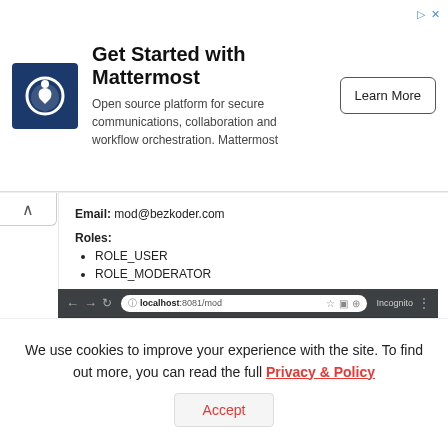[Figure (screenshot): Advertisement banner for Mattermost. Features a dark blue logo with a white swirl/power icon, bold heading 'Get Started with Mattermost', descriptive text 'Open source platform for secure communications, collaboration and workflow orchestration. Mattermost', and a 'Learn More' button.]
Email: mod@bezkoder.com
Roles:
ROLE_USER
ROLE_MODERATOR
[Figure (screenshot): Browser screenshot showing localhost:8081/mod with a dark navigation bar showing: bezKoder | Home | Moderator Board | User | mod | LogOut. Page body shows 'Moderator Content.' on a light grey background.]
We use cookies to improve your experience with the site. To find out more, you can read the full Privacy & Policy
Accept